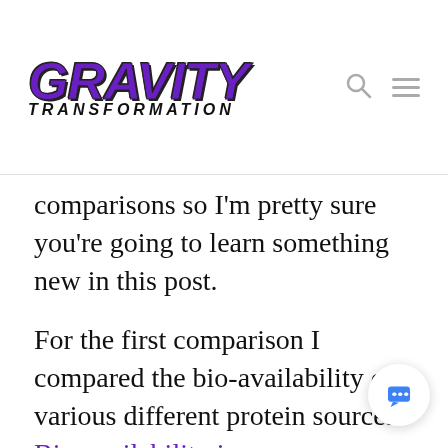GRAVITY TRANSFORMATION
comparisons so I'm pretty sure you're going to learn something new in this post.
For the first comparison I compared the bio-availability of various different protein sources. Bio-availability is a representation of the percentage of just how much our bodies can make use of certain